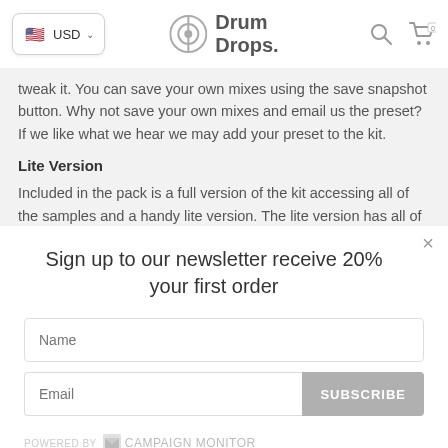USD — Drum Drops. [navigation bar with currency selector, logo, search and cart icons]
tweak it. You can save your own mixes using the save snapshot button. Why not save your own mixes and email us the preset? If we like what we hear we may add your preset to the kit.
Lite Version
Included in the pack is a full version of the kit accessing all of the samples and a handy lite version. The lite version has all of the
Sign up to our newsletter receive 20% your first order
Name
Email
SUBSCRIBE
POWERED BY Campaign Monitor